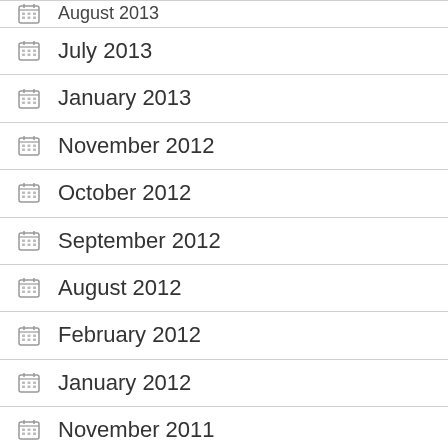August 2013
July 2013
January 2013
November 2012
October 2012
September 2012
August 2012
February 2012
January 2012
November 2011